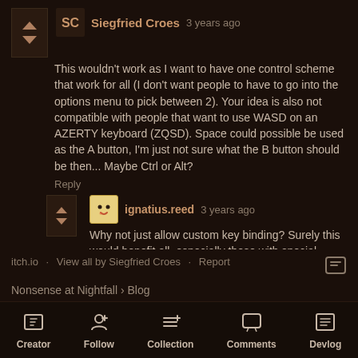Siegfried Croes  3 years ago
This wouldn't work as I want to have one control scheme that work for all (I don't want people to have to go into the options menu to pick between 2). Your idea is also not compatible with people that want to use WASD on an AZERTY keyboard (ZQSD). Space could possible be used as the A button, I'm just not sure what the B button should be then... Maybe Ctrl or Alt?
Reply
ignatius.reed  3 years ago
Why not just allow custom key binding? Surely this would benefit all, especially those with special needs.
Reply
itch.io · View all by Siegfried Croes · Report
Nonsense at Nightfall › Blog
Creator  Follow  Collection  Comments  Devlog